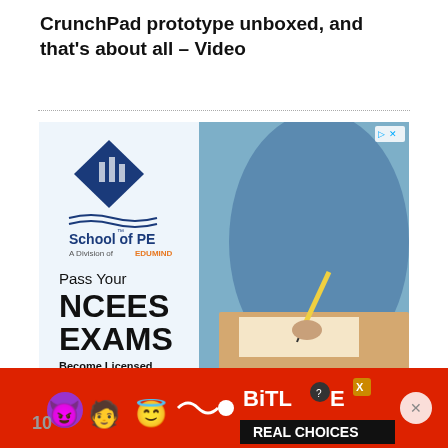CrunchPad prototype unboxed, and that's about all – Video
[Figure (advertisement): School of PE advertisement showing a student writing at a desk. Text reads: 'Pass Your NCEES EXAMS Become Licensed Prepare with School of PE – Register Now'. Logo shows School of PE, A Division of EDUMIND.]
[Figure (advertisement): BitLife 'REAL CHOICES' mobile game advertisement on red background with cartoon emoji characters.]
10